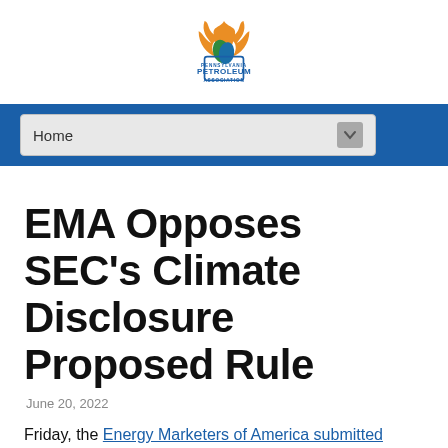[Figure (logo): Pennsylvania Petroleum Association logo with flame and leaf graphic above text]
Home
EMA Opposes SEC’s Climate Disclosure Proposed Rule
June 20, 2022
Friday, the Energy Marketers of America submitted comments on the Securities and Exchange Commission’s (“SEC”) proposed rule that would mandate extensive